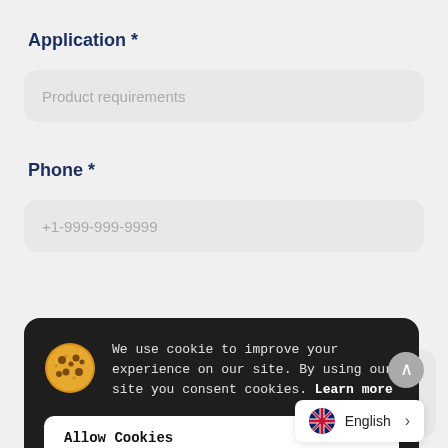Application *
Product requirements
Phone *
+1-999-999-9999
We use cookie to improve your experience on our site. By using our site you consent cookies. Learn more
Allow Cookies
Decline
English >